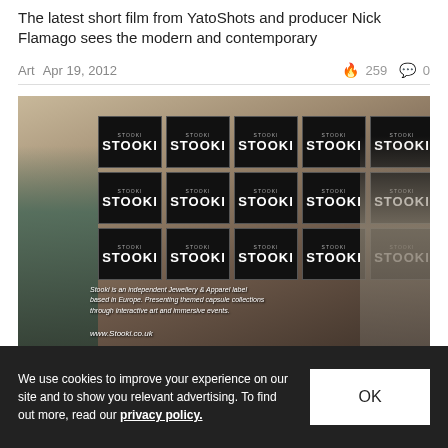The latest short film from YatoShots and producer Nick Flamago sees the modern and contemporary
Art   Apr 19, 2012   🔥 259   💬 0
[Figure (photo): Photo of people at an event in front of a glass wall displaying a 5x3 grid of STOOKI brand tiles. Text on glass reads: Stooki is an independent Jewellery & Apparel label based in Europe. Presenting themed capsule collections through interactive art and immersive events. www.Stooki.co.uk]
We use cookies to improve your experience on our site and to show you relevant advertising. To find out more, read our privacy policy.